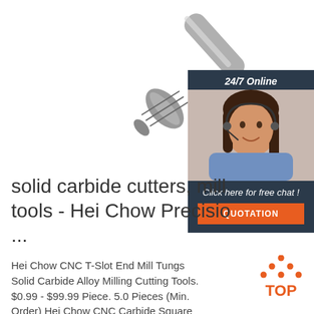[Figure (photo): A metallic solid carbide end mill / cutting tool photographed diagonally from upper-left to lower-right against a white background.]
[Figure (photo): Chat widget showing a woman wearing a headset (customer support), with a dark navy background, '24/7 Online' header text, 'Click here for free chat!' subtext, and an orange QUOTATION button.]
solid carbide cutters, mill tools - Hei Chow Precision ...
Hei Chow CNC T-Slot End Mill Tungsten Solid Carbide Alloy Milling Cutting Tools. $0.99 - $99.99 Piece. 5.0 Pieces (Min. Order) Hei Chow CNC Carbide Square Endmill High Precision Metal Milling Tools ANCA ROLLOMATIC WALLTER SCHUTTE 2-6 Flutes. $1.95 - $99.00
[Figure (logo): Orange TOP badge/logo with dotted triangle above the word TOP in orange.]